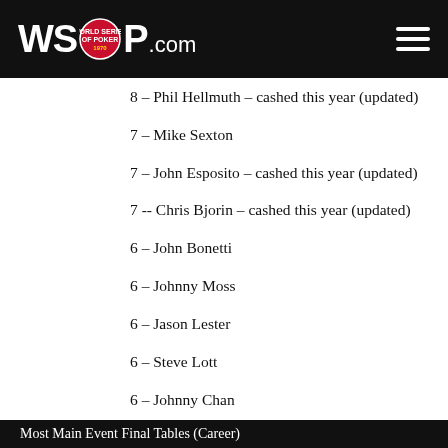WSOP.COM
8 – Phil Hellmuth – cashed this year (updated)
7 – Mike Sexton
7 – John Esposito – cashed this year (updated)
7 -- Chris Bjorin – cashed this year (updated)
6 – John Bonetti
6 – Johnny Moss
6 – Jason Lester
6 – Steve Lott
6 – Johnny Chan
5 – 14 players tied with 5 cashes each
Most Main Event Final Tables (Career)